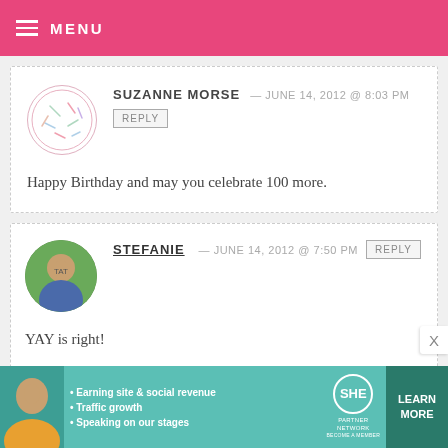MENU
SUZANNE MORSE — JUNE 14, 2012 @ 8:03 PM
REPLY
Happy Birthday and may you celebrate 100 more.
STEFANIE — JUNE 14, 2012 @ 7:50 PM
REPLY
YAY is right!
The world is a MUCH sweeter place because of you, your mom and your
[Figure (infographic): SHE Partner Network advertisement banner with avatar photo, bullet points about earning site & social revenue, traffic growth, speaking on stages, and a Learn More button]